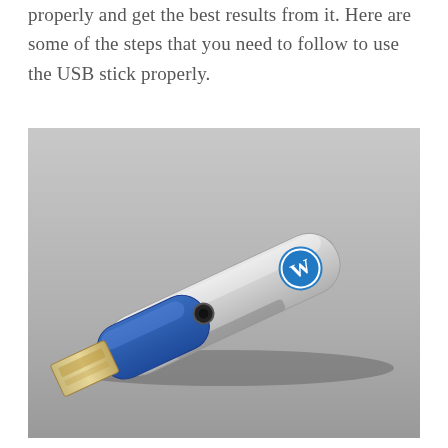properly and get the best results from it. Here are some of the steps that you need to follow to use the USB stick properly.
[Figure (photo): A WordPress-branded USB flash drive with a swivel design. The drive has a silver body with the WordPress 'W' logo in blue on the cap, and a blue plastic swivel cover partially open revealing the USB connector. The drive rests on a gray surface.]